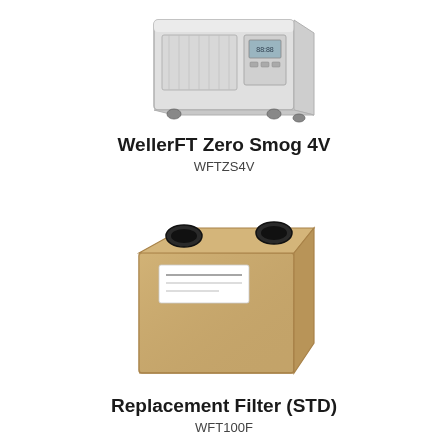[Figure (photo): WellerFT Zero Smog 4V fume extraction unit - a grey/white box-shaped industrial device on casters with a digital display panel on the front]
WellerFT Zero Smog 4V
WFTZS4V
[Figure (photo): Replacement Filter (STD) for WellerFT - a tan/gold colored rectangular box filter with two circular openings on top and a white label]
Replacement Filter (STD)
WFT100F